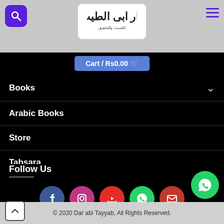[Figure (logo): Dar abi Tayyab logo with Arabic text]
Cart / Rs0.00
Books
Arabic Books
Store
Tabsara
Follow Us
[Figure (infographic): Social media icons: Facebook, Instagram, YouTube, WhatsApp, Email]
© 2020 Dar abi Tayyab, All Rights Reserved.